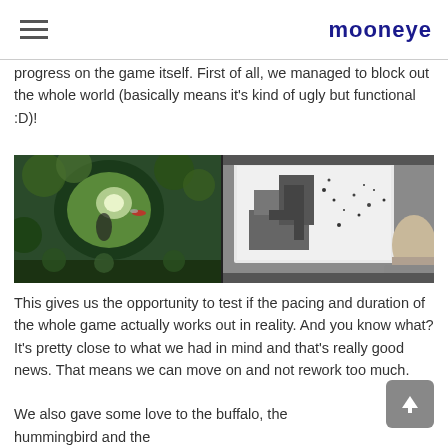mooneye
progress on the game itself. First of all, we managed to block out the whole world (basically means it’s kind of ugly but functional :D)!
[Figure (photo): Two side-by-side images: left shows a cinematic game scene with lush greenery, a figure, and a hummingbird; right shows a developer working at a monitor displaying a grey block-out level layout.]
This gives us the opportunity to test if the pacing and duration of the whole game actually works out in reality. And you know what? It’s pretty close to what we had in mind and that’s really good news. That means we can move on and not rework too much.
We also gave some love to the buffalo, the hummingbird and the